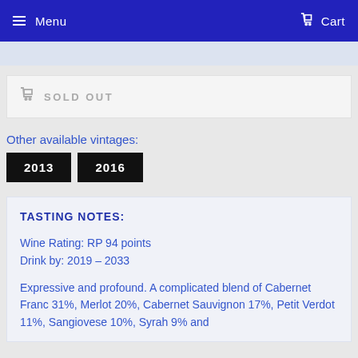Menu   Cart
SOLD OUT
Other available vintages:
2013   2016
TASTING NOTES:
Wine Rating: RP 94 points
Drink by: 2019 – 2033
Expressive and profound. A complicated blend of Cabernet Franc 31%, Merlot 20%, Cabernet Sauvignon 17%, Petit Verdot 11%, Sangiovese 10%, Syrah 9% and